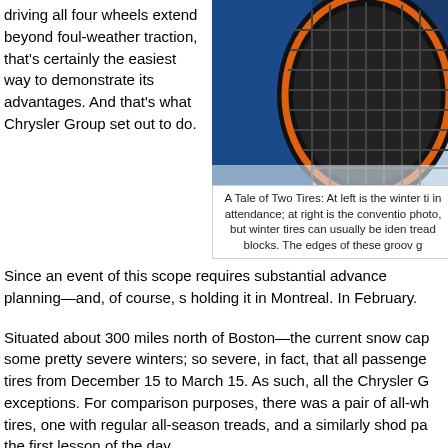driving all four wheels extend beyond foul-weather traction, that's certainly the easiest way to demonstrate its advantages. And that's what Chrysler Group set out to do.
[Figure (photo): Close-up photo of a winter tire tread with orange sidewall accent against a blue vehicle body, with snow visible.]
A Tale of Two Tires: At left is the winter ti in attendance; at right is the conventio photo, but winter tires can usually be iden tread blocks. The edges of these groov g
Since an event of this scope requires substantial advance planning—and, of course, s holding it in Montreal. In February.
Situated about 300 miles north of Boston—the current snow cap some pretty severe winters; so severe, in fact, that all passenge tires from December 15 to March 15. As such, all the Chrysler G exceptions. For comparison purposes, there was a pair of all-wh tires, one with regular all-season treads, and a similarly shod pa the first lesson of the day.